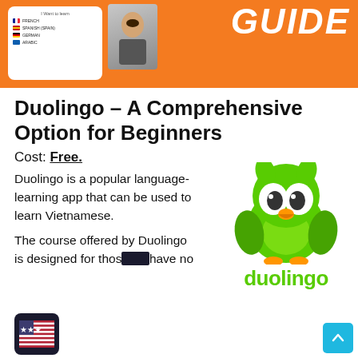[Figure (screenshot): Orange banner with Duolingo app screenshot showing language options (French, Spanish, German, Greek) and a photo of a person, with 'GUIDE' text in white on the right]
Duolingo – A Comprehensive Option for Beginners
Cost: Free.
Duolingo is a popular language-learning app that can be used to learn Vietnamese.
[Figure (illustration): Duolingo green owl mascot logo and 'duolingo' text in green]
The course offered by Duolingo is designed for those who have no